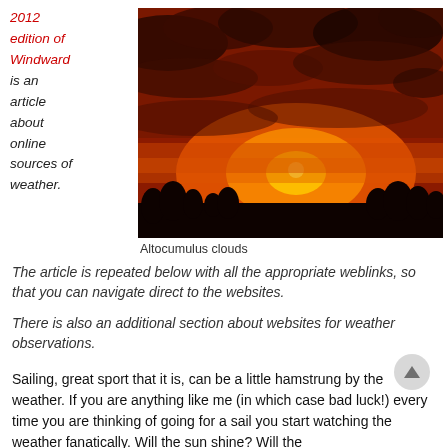2012 edition of Windward is an article about online sources of weather.
[Figure (photo): Dramatic orange and red sunset sky with altocumulus clouds and dark tree silhouettes on the horizon]
Altocumulus clouds
The article is repeated below with all the appropriate weblinks, so that you can navigate direct to the websites.
There is also an additional section about websites for weather observations.
Sailing, great sport that it is, can be a little hamstrung by the weather. If you are anything like me (in which case bad luck!) every time you are thinking of going for a sail you start watching the weather fanatically. Will the sun shine? Will the